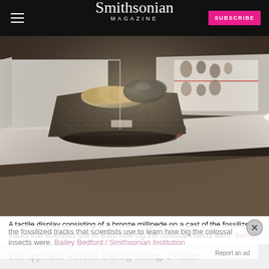Smithsonian MAGAZINE
[Figure (photo): Museum display case showing a bronze millipede sculpture on a cast of fossilized tracks, displayed on a white pedestal surface with another display case visible in the background]
A tactile display consisting of a bronze millipede on a cast of the fossilized tracks that scientists use to learn how big the colossal insects were. Bailey Bedford / Smithsonian Institution
The approach worked. During testing, a visitor